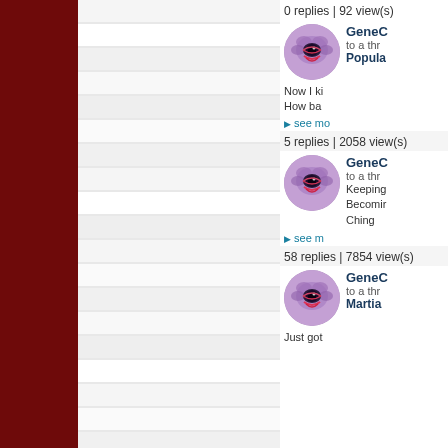0 replies | 92 view(s)
[Figure (screenshot): Forum user avatar - dragon eye illustration, circular cropped, purple/pink tones]
GeneC
to a thr
Popula
Now I ki
How ba
see mo
5 replies | 2058 view(s)
[Figure (screenshot): Forum user avatar - dragon eye illustration, circular cropped, purple/pink tones]
GeneC
to a thr
Keeping
Becomir
Ching
see m
58 replies | 7854 view(s)
[Figure (screenshot): Forum user avatar - dragon eye illustration, circular cropped, purple/pink tones]
GeneC
to a thr
Martia
Just got